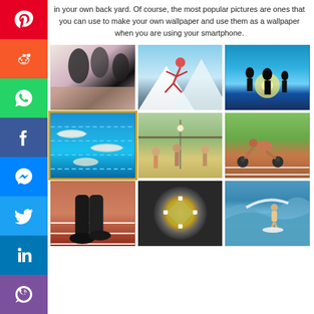in your own back yard. Of course, the most popular pictures are ones that you can use to make your own wallpaper and use them as a wallpaper when you are using your smartphone.
[Figure (photo): Volleyball players celebrating indoors]
[Figure (photo): Person skiing or doing aerial sport in mountains]
[Figure (photo): Silhouette of runners against bright sky]
[Figure (photo): Swimmers in pool lanes (highlighted with yellow border)]
[Figure (photo): People playing beach volleyball]
[Figure (photo): Person doing kettlebell exercise on track]
[Figure (photo): Runner's legs on red track]
[Figure (photo): Aerial view of baseball field]
[Figure (photo): Surfer riding a wave]